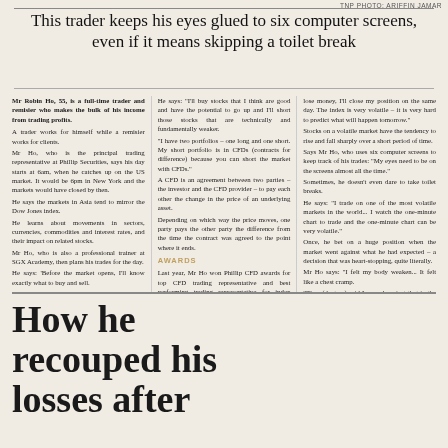TNP PHOTO: ARIFFIN JAMAR
This trader keeps his eyes glued to six computer screens, even if it means skipping a toilet break
Mr Robin Ho, 55, is a full-time trader and remisier who makes the bulk of his income from trading profits. A trader works for himself while a remisier works for clients. Mr Ho, who is the principal trading representative at Phillip Securities, says his day starts at 6am, when he catches up on the US market. It would be 6pm in New York and the markets would have closed by then. He says the markets in Asia tend to mirror the Dow Jones index. He learns about movements in sectors, currencies, commodities and interest rates, and their impact on related stocks. Mr Ho, who is also a professional trainer at SGX Academy, then plans his trades for the day. He says: 'Before the market opens, I'll know exactly what to buy and sell. "When the market opens, I execute my trade plans." Mr Ho, who has been trading for 14 years, used to be in the Singapore navy and was the commanding officer of a warship. He does swing trades - trading stocks in the Singapore market on a medium term of between one week and a month.
He says: "I'll buy stocks that I think are good and have the potential to go up and I'll short those stocks that are technically and fundamentally weaker. "I have two portfolios - one long and one short. My short portfolio is in CFDs (contracts for difference) because you can short the market with CFDs." A CFD is an agreement between two parties - the investor and the CFD provider - to pay each other the change in the price of an underlying asset. Depending on which way the price moves, one party pays the other party the difference from the time the contract was agreed to the point where it ends.
AWARDS
Last year, Mr Ho won Phillip CFD awards for top CFD trading representative and best performing trading representative for index trading, Singapore and Hong Kong stocks. Besides that, Mr Ho also trades intra-day on indices, especially the Hang Seng index, which comprises 50 of Hong Kong's largest and most liquid companies listed on the Hong Kong Stock Exchange. He says: "Whether I make money or
lose money, I'll close my position on the same day. The index is very volatile - it is very hard to predict what will happen tomorrow." Stocks on a volatile market have the tendency to rise and fall sharply over a short period of time. Says Mr Ho, who uses six computer screens to keep track of his trades: "My eyes need to be on the screens almost all the time." Sometimes, he doesn't even dare to take toilet breaks. He says: "I trade on one of the most volatile markets in the world... I watch the one-minute chart to trade and the one-minute chart can be very volatile." Once, he bet on a huge position when the market went against what he had expected - a decision that was heart-stopping, quite literally. Mr Ho says: "I felt my body weaken... It felt like a chest cramp. "They (doctors) said I was okay, just that in the heat of the excitement, there was a muscle spasm or cramp in the heart, so my heart stopped beating. Thankfully, it was not a heart attack." He's not kidding when he says you need a strong heart and bladder for the job.
How he recouped his losses after